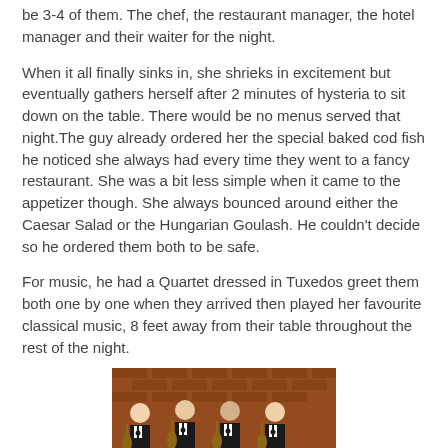be 3-4 of them. The chef, the restaurant manager, the hotel manager and their waiter for the night.
When it all finally sinks in, she shrieks in excitement but eventually gathers herself after 2 minutes of hysteria to sit down on the table. There would be no menus served that night.The guy already ordered her the special baked cod fish he noticed she always had every time they went to a fancy restaurant. She was a bit less simple when it came to the appetizer though. She always bounced around either the Caesar Salad or the Hungarian Goulash. He couldn't decide so he ordered them both to be safe.
For music, he had a Quartet dressed in Tuxedos greet them both one by one when they arrived then played her favourite classical music, 8 feet away from their table throughout the rest of the night.
[Figure (photo): Four men in tuxedos with bow ties holding string instruments (violins/violas), standing in front of a brick wall background. They appear to be a classical music quartet.]